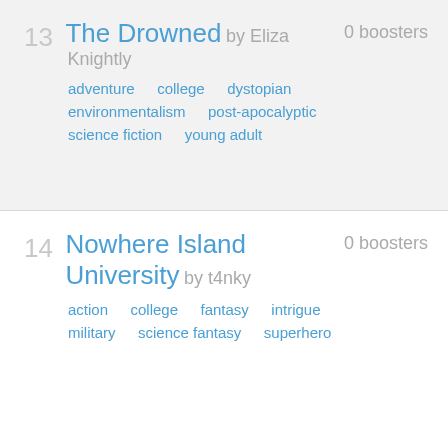13 The Drowned by Eliza Knightly — 0 boosters — tags: adventure, college, dystopian, environmentalism, post-apocalyptic, science fiction, young adult
14 Nowhere Island University by t4nky — 0 boosters — tags: action, college, fantasy, intrigue, military, science fantasy, superhero